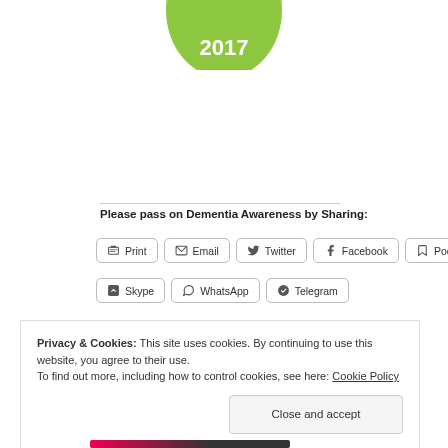[Figure (illustration): Green badge/seal with '2017' text in white, partially visible at top of page]
Please pass on Dementia Awareness by Sharing:
Print | Email | Twitter | Facebook | Pocket | Skype | WhatsApp | Telegram
Privacy & Cookies: This site uses cookies. By continuing to use this website, you agree to their use.
To find out more, including how to control cookies, see here: Cookie Policy
Close and accept